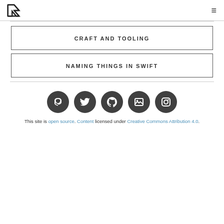NF logo / navigation header
CRAFT AND TOOLING
NAMING THINGS IN SWIFT
[Figure (infographic): Row of five dark circular social media icons: Mastodon, Twitter, GitHub, image/gallery, Instagram]
This site is open source. Content licensed under Creative Commons Attribution 4.0.